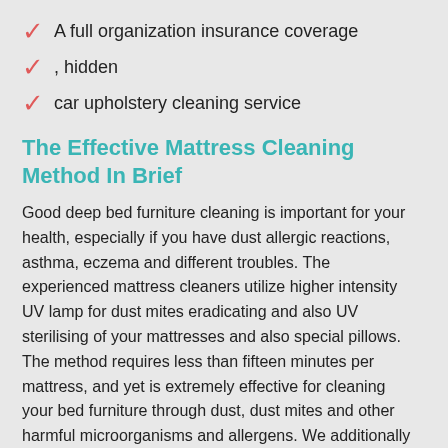A full organization insurance coverage
, hidden
car upholstery cleaning service
The Effective Mattress Cleaning Method In Brief
Good deep bed furniture cleaning is important for your health, especially if you have dust allergic reactions, asthma, eczema and different troubles. The experienced mattress cleaners utilize higher intensity UV lamp for dust mites eradicating and also UV sterilising of your mattresses and also special pillows. The method requires less than fifteen minutes per mattress, and yet is extremely effective for cleaning your bed furniture through dust, dust mites and other harmful microorganisms and allergens. We additionally specialise in successful bed bugs elimination. No water is utilized, so no machine drying time is required right after the cleaning procedure. To guarantee that your house is dust totally free and has a